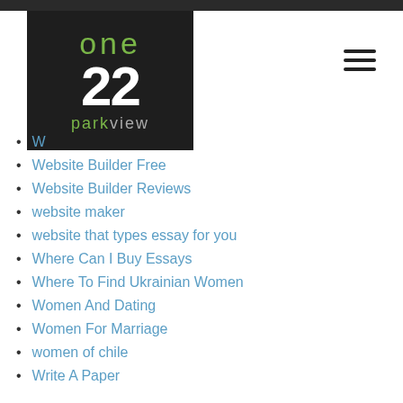[Figure (logo): One 22 Parkview logo — dark background with green 'one', white '22', and grey/green 'parkview' text]
W…
Website Builder Free
Website Builder Reviews
website maker
website that types essay for you
Where Can I Buy Essays
Where To Find Ukrainian Women
Women And Dating
Women For Marriage
women of chile
Write A Paper